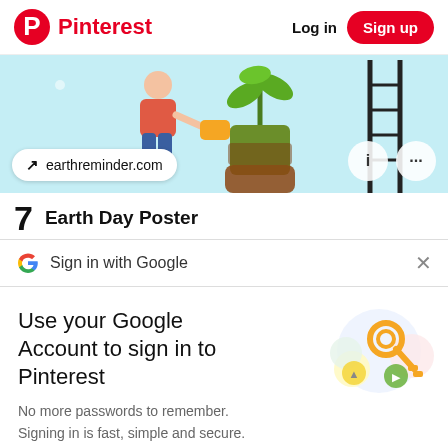Pinterest   Log in   Sign up
[Figure (illustration): Pinterest pin image showing a person watering a plant in a pot, with a ladder on the right, light blue background. Overlaid pill shows 'earthreminder.com' with an arrow icon, and icon buttons on the right.]
7   Earth Day Poster
Sign in with Google
Use your Google Account to sign in to Pinterest
No more passwords to remember.
Signing in is fast, simple and secure.
Continue